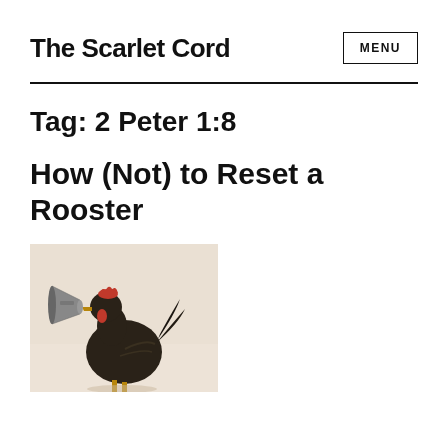The Scarlet Cord
Tag: 2 Peter 1:8
How (Not) to Reset a Rooster
[Figure (photo): A rooster holding a megaphone/bullhorn, photographed against a light beige/cream background. The rooster is dark colored and appears to be shouting into the megaphone.]